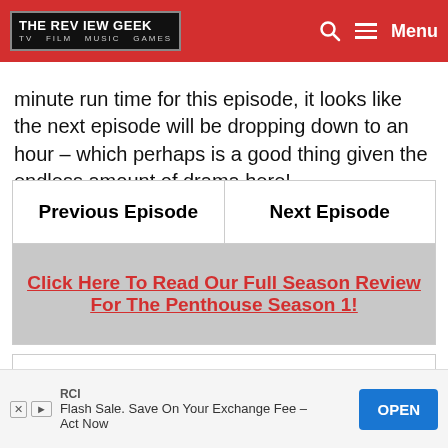THE REVIEW GEEK | TV FILM MUSIC GAMES | Menu
minute run time for this episode, it looks like the next episode will be dropping down to an hour – which perhaps is a good thing given the endless amount of drama here!
| Previous Episode | Next Episode |
| --- | --- |
| Click Here To Read Our Full Season Review For The Penthouse Season 1! |
Episode Rating (3.5)
3.5
RCI
Flash Sale. Save On Your Exchange Fee – Act Now